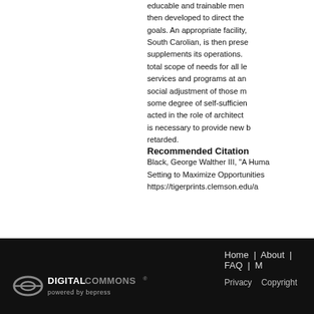educable and trainable men... then developed to direct the goals. An appropriate facility, South Carolian, is then prese... supplements its operations. total scope of needs for all le... services and programs at an... social adjustment of those m... some degree of self-sufficien... acted in the role of architect... is necessary to provide new b... retarded.
Recommended Citation
Black, George Walther III, "A Huma... Setting to Maximize Opportunities... https://tigerprints.clemson.edu/a...
DIGITAL COMMONS powered by bepress | Home | About | FAQ | M... | Privacy | Copyright